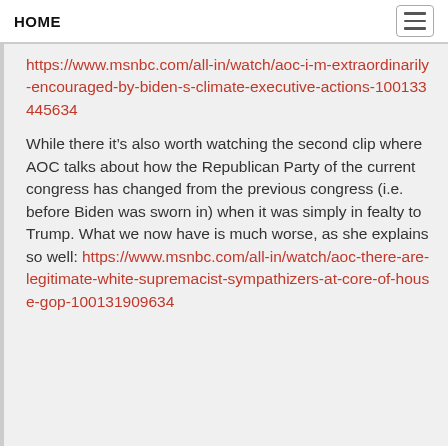HOME
https://www.msnbc.com/all-in/watch/aoc-i-m-extraordinarily-encouraged-by-biden-s-climate-executive-actions-100133445634
While there it’s also worth watching the second clip where AOC talks about how the Republican Party of the current congress has changed from the previous congress (i.e. before Biden was sworn in) when it was simply in fealty to Trump. What we now have is much worse, as she explains so well: https://www.msnbc.com/all-in/watch/aoc-there-are-legitimate-white-supremacist-sympathizers-at-core-of-house-gop-100131909634